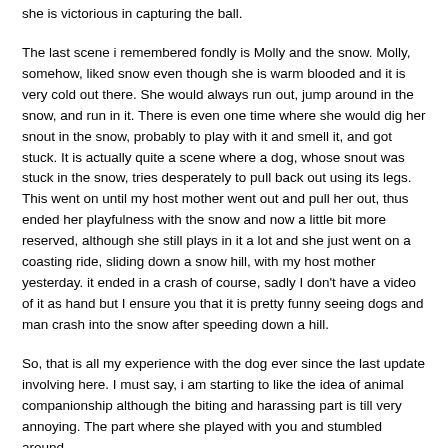she is victorious in capturing the ball.
The last scene i remembered fondly is Molly and the snow. Molly, somehow, liked snow even though she is warm blooded and it is very cold out there. She would always run out, jump around in the snow, and run in it. There is even one time where she would dig her snout in the snow, probably to play with it and smell it, and got stuck. It is actually quite a scene where a dog, whose snout was stuck in the snow, tries desperately to pull back out using its legs. This went on until my host mother went out and pull her out, thus ended her playfulness with the snow and now a little bit more reserved, although she still plays in it a lot and she just went on a coasting ride, sliding down a snow hill, with my host mother yesterday. it ended in a crash of course, sadly I don't have a video of it as hand but I ensure you that it is pretty funny seeing dogs and man crash into the snow after speeding down a hill.
So, that is all my experience with the dog ever since the last update involving here. I must say, i am starting to like the idea of animal companionship although the biting and harassing part is till very annoying. The part where she played with you and stumbled around